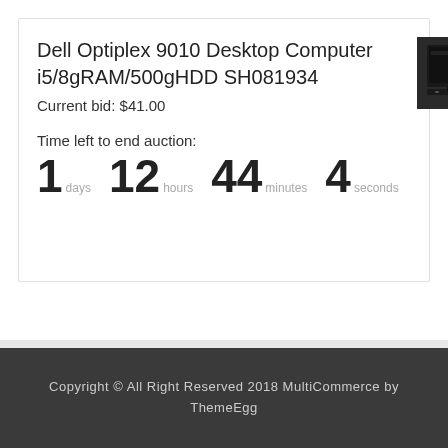Dell Optiplex 9010 Desktop Computer i5/8gRAM/500gHDD SH081934
Current bid: $41.00
Time left to end auction:
1 days 12 hours 44 minutes 4 seconds
[Figure (photo): Small thumbnail photo of a Dell Optiplex 9010 desktop computer, dark/black enclosure, square image]
Copyright © All Right Reserved 2018 MultiCommerce by ThemeEgg